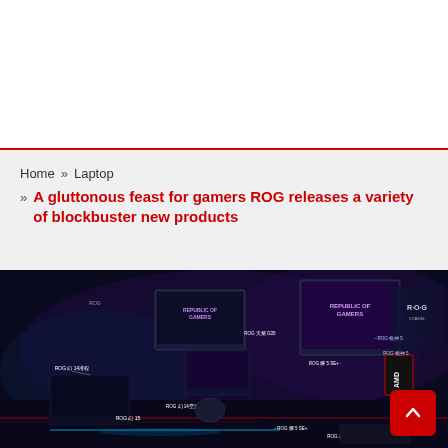Home » Laptop
» A gluttonous feast for gamers ROG releases a variety of blockbuster new products
[Figure (photo): Dark gaming setup showing multiple ROG (Republic of Gamers) laptops and monitors arranged on a desk with neon/RGB lighting in purple and red hues. Various ROG product labels are overlaid on the products including ROG G14, ROG G15, ROG G19, ROG Strix G35, ROG Strix 5, and others. AMD logo visible on right side. Red scroll-to-top button in bottom-right corner.]